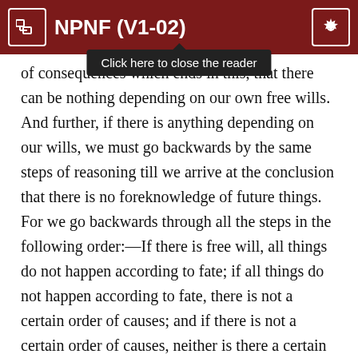NPNF (V1-02)
Click here to close the reader
of consequences which ends in this, that there can be nothing depending on our own free wills.  And further, if there is anything depending on our wills, we must go backwards by the same steps of reasoning till we arrive at the conclusion that there is no foreknowledge of future things.  For we go backwards through all the steps in the following order:—If there is free will, all things do not happen according to fate; if all things do not happen according to fate, there is not a certain order of causes; and if there is not a certain order of causes, neither is there a certain order of things foreknown